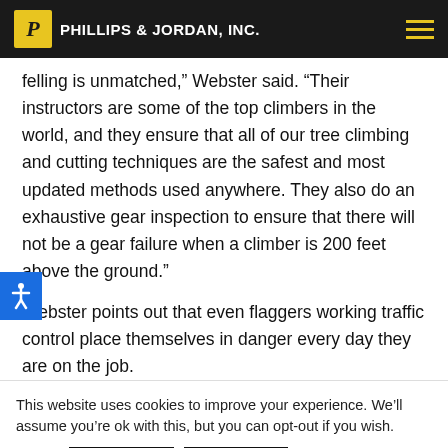Phillips & Jordan, Inc.
felling is unmatched," Webster said. "Their instructors are some of the top climbers in the world, and they ensure that all of our tree climbing and cutting techniques are the safest and most updated methods used anywhere. They also do an exhaustive gear inspection to ensure that there will not be a gear failure when a climber is 200 feet above the ground.”
Webster points out that even flaggers working traffic control place themselves in danger every day they are on the job.
This website uses cookies to improve your experience. We’ll assume you’re ok with this, but you can opt-out if you wish.